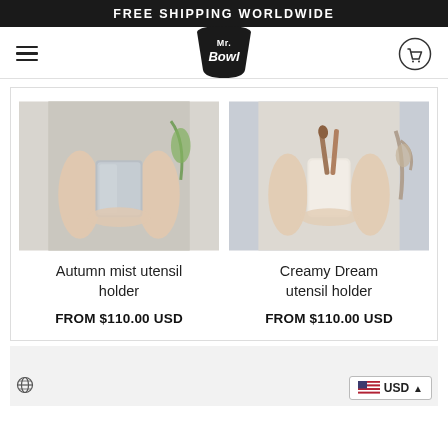FREE SHIPPING WORLDWIDE
[Figure (logo): Mr. Bowl logo - stylized text in a bowl shape, black on white]
[Figure (photo): Person in linen apron holding a grey ceramic utensil holder with both hands]
Autumn mist utensil holder
FROM $110.00 USD
[Figure (photo): Person in linen dress holding a white ceramic utensil holder with wooden utensils inside]
Creamy Dream utensil holder
FROM $110.00 USD
USD